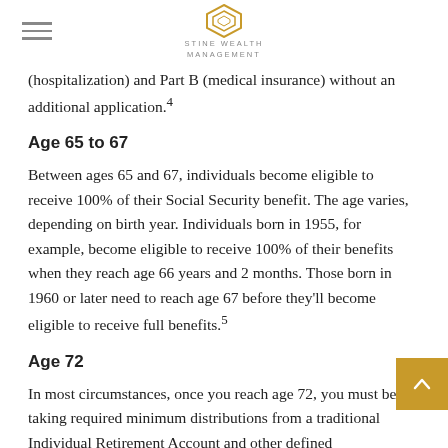STINE WEALTH MANAGEMENT
(hospitalization) and Part B (medical insurance) without an additional application.4
Age 65 to 67
Between ages 65 and 67, individuals become eligible to receive 100% of their Social Security benefit. The age varies, depending on birth year. Individuals born in 1955, for example, become eligible to receive 100% of their benefits when they reach age 66 years and 2 months. Those born in 1960 or later need to reach age 67 before they'll become eligible to receive full benefits.5
Age 72
In most circumstances, once you reach age 72, you must begin taking required minimum distributions from a traditional Individual Retirement Account and other defined